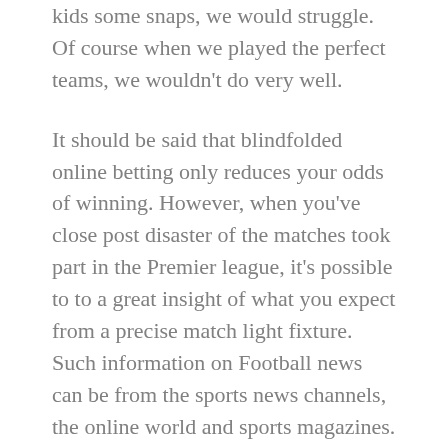kids some snaps, we would struggle. Of course when we played the perfect teams, we wouldn't do very well.
It should be said that blindfolded online betting only reduces your odds of winning. However, when you've close post disaster of the matches took part in the Premier league, it's possible to to a great insight of what you expect from a precise match light fixture. Such information on Football news can be from the sports news channels, the online world and sports magazines. Possibilities free bets offered for you to participate all of the betting matter. This means that you lose nothing an individual bet an individual also only need spare serious amounts of place the bet.
Another a part of the clause states that clubs will not be able to owe money to rivals, players, staff or tax authorities at the end with the season. They're hoping steer clear of what happened at Portsmouth who went into